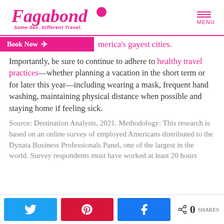[Figure (logo): Fagabond logo — script pink text reading 'Fagabond' with tagline 'Same Sex. Different Travel.' and a hamburger menu icon labeled MENU]
merica's gayest cities.
Importantly, be sure to continue to adhere to healthy travel practices—whether planning a vacation in the short term or for later this year—including wearing a mask, frequent hand washing, maintaining physical distance when possible and staying home if feeling sick.
Source: Destination Analysts, 2021. Methodology: This research is based on an online survey of employed Americans distributed to the Dynata Business Professionals Panel, one of the largest in the world. Survey respondents must have worked at least 20 hours
[Figure (infographic): Social share bar with Twitter, Pinterest, and Facebook share buttons and a share count showing 0 SHARES]